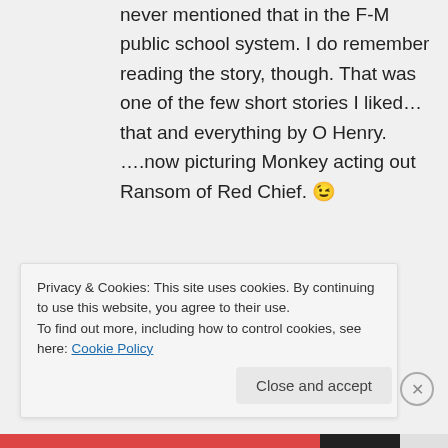never mentioned that in the F-M public school system. I do remember reading the story, though. That was one of the few short stories I liked…that and everything by O Henry. ….now picturing Monkey acting out Ransom of Red Chief. 😉
★ Like
↪ Reply
Privacy & Cookies: This site uses cookies. By continuing to use this website, you agree to their use.
To find out more, including how to control cookies, see here: Cookie Policy
Close and accept